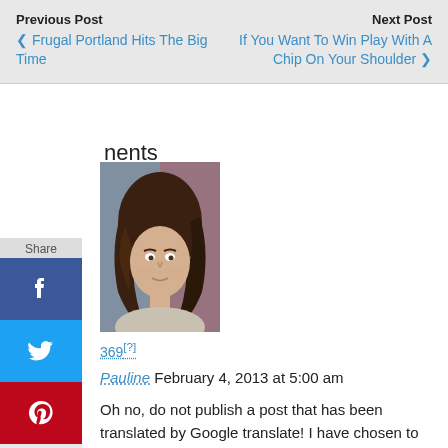Previous Post | Next Post
❮ Frugal Portland Hits The Big Time
If You Want To Win Play With A Chip On Your Shoulder ❯
ments
[Figure (photo): Portrait photo of a woman with curly brown hair]
369[?]
Pauline February 4, 2013 at 5:00 am

Oh no, do not publish a post that has been translated by Google translate! I have chosen to blog in English but am sure there would be plenty for me to do within the French blogosphere. If your English is not average at least, I would recommend writing in your mother tongue. I imagine many people wouldn't put 5-20 hours on a post because there is no immediate reward. I started as a staff writer for travel blogs and was happy to get paid since my first